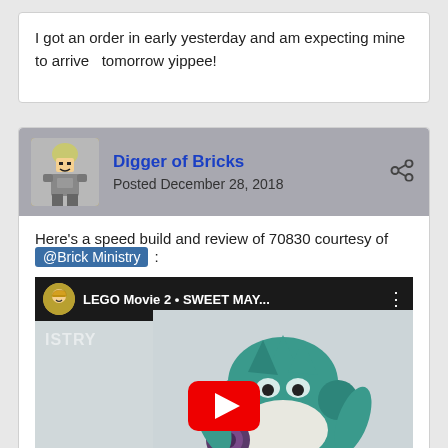I got an order in early yesterday and am expecting mine to arrive  tomorrow yippee!
Digger of Bricks
Posted December 28, 2018
Here's a speed build and review of 70830 courtesy of @Brick Ministry :
[Figure (screenshot): YouTube video thumbnail showing LEGO Movie 2 Sweet May... speed build video with a teal/turquoise LEGO model and red play button]